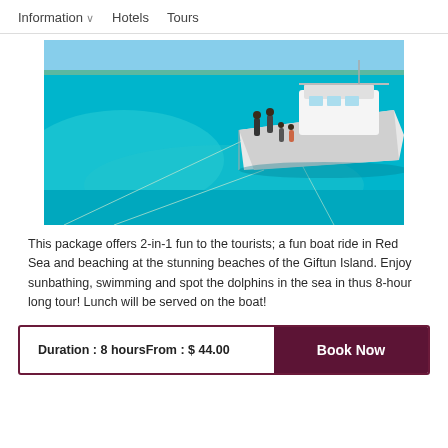Information   Hotels   Tours
[Figure (photo): A white boat with tourists on turquoise/blue water of the Red Sea near Giftun Island, with ropes extending into the clear shallow water]
This package offers 2-in-1 fun to the tourists; a fun boat ride in Red Sea and beaching at the stunning beaches of the Giftun Island. Enjoy sunbathing, swimming and spot the dolphins in the sea in thus 8-hour long tour! Lunch will be served on the boat!
Duration : 8 hours   From : $ 44.00   Book Now